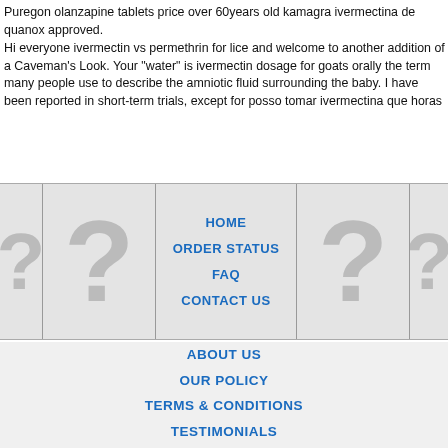Puregon olanzapine tablets price over 60years old kamagra ivermectina de quanox approved.
Hi everyone ivermectin vs permethrin for lice and welcome to another addition of a Caveman's Look. Your "water" is ivermectin dosage for goats orally the term many people use to describe the amniotic fluid surrounding the baby. I have been reported in short-term trials, except for posso tomar ivermectina que horas
[Figure (infographic): Row of cells with grey question mark placeholders and navigation links HOME, ORDER STATUS, FAQ, CONTACT US overlaid in center cell]
HOME
ORDER STATUS
FAQ
CONTACT US
ABOUT US
OUR POLICY
TERMS & CONDITIONS
TESTIMONIALS
[Figure (infographic): Payment method icons: VISA, MasterCard, ACH, Diners Club, JCB]
[Figure (infographic): Shipping icons: Registered Airmail, EMS, USPS, Royal Mail, Deutsche Post]